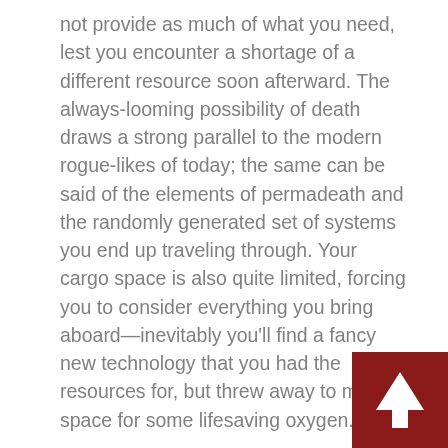not provide as much of what you need, lest you encounter a shortage of a different resource soon afterward. The always-looming possibility of death draws a strong parallel to the modern rogue-likes of today; the same can be said of the elements of permadeath and the randomly generated set of systems you end up traveling through. Your cargo space is also quite limited, forcing you to consider everything you bring aboard—inevitably you'll find a fancy new technology that you had the resources for, but threw away to make space for some lifesaving oxygen.

More rarely, you'll find alien space stations (which instantly max out one of your three primary resources), inhabitable garden planets (inhabited by alien life), and beacons from abandoned ships (which can be occupied, giving different cargo layouts and
[Figure (other): Red square button with a white upward arrow, positioned at the bottom-right corner of the page]